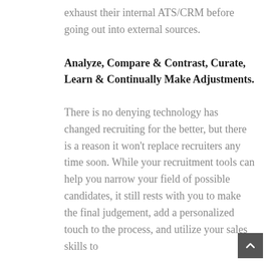exhaust their internal ATS/CRM before going out into external sources.
Analyze, Compare & Contrast, Curate, Learn & Continually Make Adjustments.
There is no denying technology has changed recruiting for the better, but there is a reason it won't replace recruiters any time soon. While your recruitment tools can help you narrow your field of possible candidates, it still rests with you to make the final judgement, add a personalized touch to the process, and utilize your sales skills to